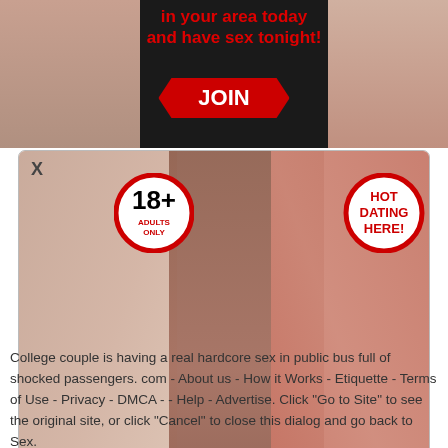[Figure (photo): Adult dating advertisement banner with text 'in your area today and have sex tonight!' and a red JOIN NOW button, with photos of women on left and right sides]
[Figure (infographic): Popup advertisement with close X button, 18+ adults only badge, HOT DATING HERE badge, three women posing, and a red CLICK HERE TO REGISTER button]
College couple is having a real hardcore sex in public bus full of shocked passengers. com - About us - How it Works - Etiquette - Terms of Use - Privacy - DMCA - - Help - Advertise. Click "Go to Site" to see the original site, or click "Cancel" to close this dialog and go back to Sex.